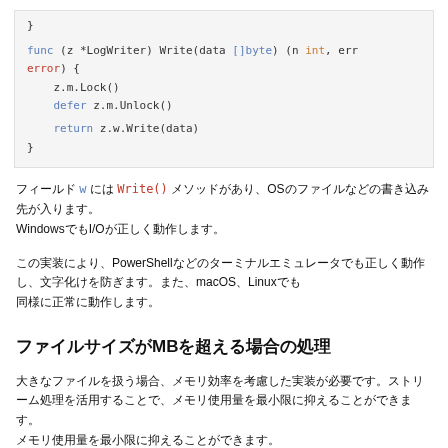func (z *LogWriter) Write(data []byte) (n int, err error) {
    z.m.Lock()
    defer z.m.Unlock()

    return z.w.Write(data)
}
フィールド w には Write() メソッドがあり、OSのファイルなどの書き込み先が入ります。Windowsでも I/O が正しく動作します。
この実装により、PowerShellなどのターミナルエミュレータでも正しく動作し、文字化けを防ぎます。また、macOS、Linuxでも同様に正常に動作します。
ファイルサイズが MB を超える場合の処理
大きなファイルを扱う場合、メモリ効率を考慮した実装が必要です。ストリーム処理を活用することで、メモリ使用量を最小限に抑えることができます。
watermint toolbox を使うと、大きなファイルをCSV、JSONやExcel形式で